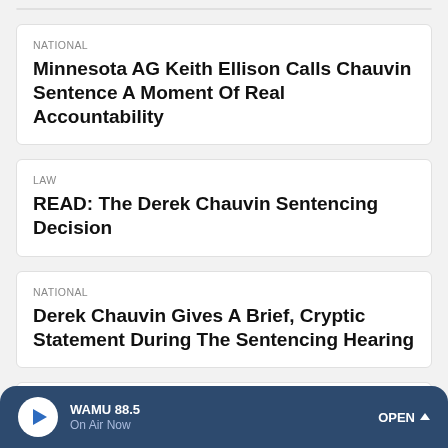NATIONAL
Minnesota AG Keith Ellison Calls Chauvin Sentence A Moment Of Real Accountability
LAW
READ: The Derek Chauvin Sentencing Decision
NATIONAL
Derek Chauvin Gives A Brief, Cryptic Statement During The Sentencing Hearing
NATIONAL
At 7 Years Old, Gianna Floyd Asks In A Court
WAMU 88.5
On Air Now
OPEN